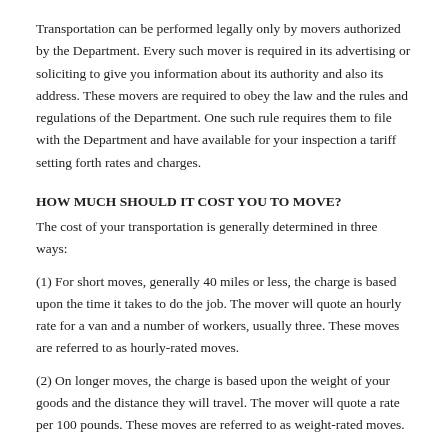Transportation can be performed legally only by movers authorized by the Department. Every such mover is required in its advertising or soliciting to give you information about its authority and also its address. These movers are required to obey the law and the rules and regulations of the Department. One such rule requires them to file with the Department and have available for your inspection a tariff setting forth rates and charges.
HOW MUCH SHOULD IT COST YOU TO MOVE?
The cost of your transportation is generally determined in three ways:
(1) For short moves, generally 40 miles or less, the charge is based upon the time it takes to do the job. The mover will quote an hourly rate for a van and a number of workers, usually three. These moves are referred to as hourly-rated moves.
(2) On longer moves, the charge is based upon the weight of your goods and the distance they will travel. The mover will quote a rate per 100 pounds. These moves are referred to as weight-rated moves.
If you require additional services such as packing, rigging, storage, etc., there